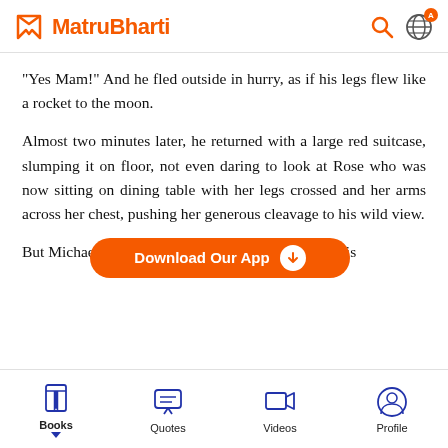MatruBharti
"Yes Mam!" And he fled outside in hurry, as if his legs flew like a rocket to the moon.
Almost two minutes later, he returned with a large red suitcase, slumping it on floor, not even daring to look at Rose who was now sitting on dining table with her legs crossed and her arms across her chest, pushing her generous cleavage to his wild view.
But Michael d[Download Our App]loor," Here is
[Figure (screenshot): Download Our App button overlay in orange with white text and download arrow icon]
Books  Quotes  Videos  Profile